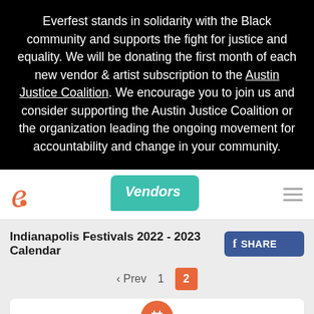Everfest stands in solidarity with the Black community and supports the fight for justice and equality. We will be donating the first month of each new vendor & artist subscription to the Austin Justice Coalition. We encourage you to join us and consider supporting the Austin Justice Coalition or the organization leading the ongoing movement for accountability and change in your community.
[Figure (screenshot): Everfest website navigation bar with orange 'e' logo on the left, a teal 'Vendors' speech-bubble button in the center, and a hamburger menu icon on the right.]
Indianapolis Festivals 2022 - 2023 Calendar
[Figure (screenshot): Facebook SHARE button in dark blue with 'f' logo]
‹ Prev  1  2
[Figure (screenshot): Partial card preview with orange circular icon at the bottom of the page]